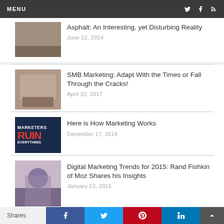MENU
Burn Your Lunch on the Asphalt: An Interesting, yet Disturbing Reality — June 12, 2014
SMB Marketing: Adapt With the Times or Fall Through the Cracks! — April 10, 2017
Here is How Marketing Works — December 17, 2014
Digital Marketing Trends for 2015: Rand Fishkin of Moz Shares his Insights — January 13, 2015
Shares